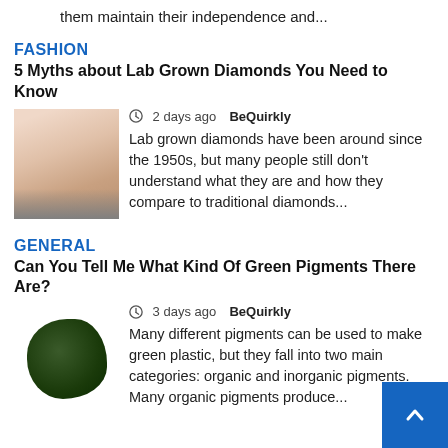them maintain their independence and...
FASHION
5 Myths about Lab Grown Diamonds You Need to Know
[Figure (photo): Photo of hands holding or wearing a diamond ring]
2 days ago  BeQuirkly
Lab grown diamonds have been around since the 1950s, but many people still don't understand what they are and how they compare to traditional diamonds...
GENERAL
Can You Tell Me What Kind Of Green Pigments There Are?
[Figure (photo): Photo of dark green pigment powder]
3 days ago  BeQuirkly
Many different pigments can be used to make green plastic, but they fall into two main categories: organic and inorganic pigments. Many organic pigments produce...